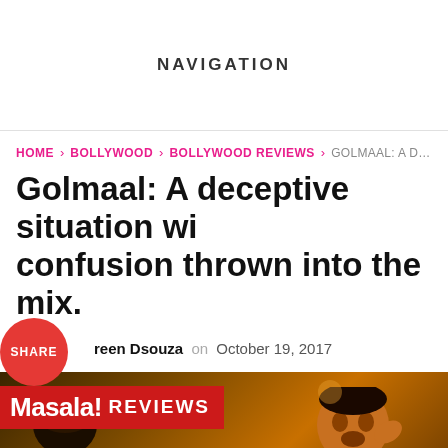NAVIGATION
HOME > BOLLYWOOD > BOLLYWOOD REVIEWS > GOLMAAL: A DECEPTIVE SITUATI...
Golmaal: A deceptive situation with confusion thrown into the mix.
reen Dsouza on October 19, 2017
[Figure (photo): Masala! Reviews banner with photo of actors from Golmaal movie. Red banner with Masala! REVIEWS text. Two male actors visible in background against warm-toned setting.]